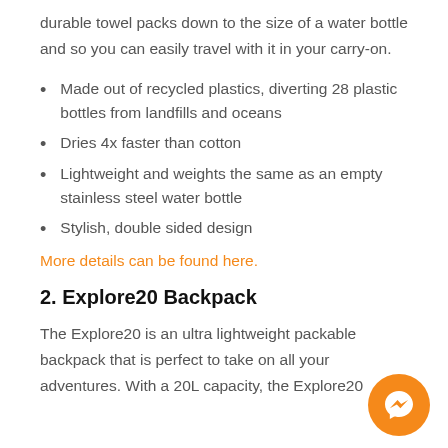durable towel packs down to the size of a water bottle and so you can easily travel with it in your carry-on.
Made out of recycled plastics, diverting 28 plastic bottles from landfills and oceans
Dries 4x faster than cotton
Lightweight and weights the same as an empty stainless steel water bottle
Stylish, double sided design
More details can be found here.
2. Explore20 Backpack
The Explore20 is an ultra lightweight packable backpack that is perfect to take on all your adventures. With a 20L capacity, the Explore20